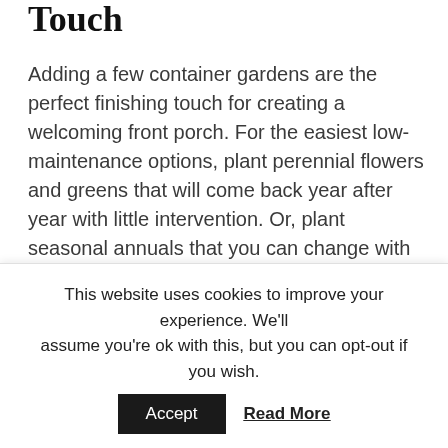Touch
Adding a few container gardens are the perfect finishing touch for creating a welcoming front porch. For the easiest low-maintenance options, plant perennial flowers and greens that will come back year after year with little intervention. Or, plant seasonal annuals that you can change with the seasons: delicate blooms for spring, hearty greens for summer, and orange and yellow mums for the fall.
Creating a welcoming front porch may seem like a lot
This website uses cookies to improve your experience. We'll assume you're ok with this, but you can opt-out if you wish.
Accept   Read More